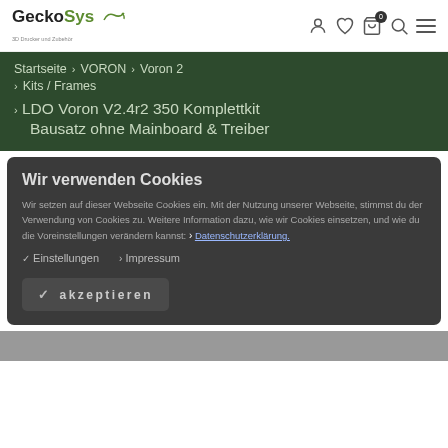GeckoSys — 3D Drucker und Zubehör
Startseite › VORON › Voron 2 › Kits / Frames › LDO Voron V2.4r2 350 Komplettkit Bausatz ohne Mainboard & Treiber
Wir verwenden Cookies
Wir setzen auf dieser Webseite Cookies ein. Mit der Nutzung unserer Webseite, stimmst du der Verwendung von Cookies zu. Weitere Information dazu, wie wir Cookies einsetzen, und wie du die Voreinstellungen verändern kannst: › Datenschutzerklärung.
✓ Einstellungen  › Impressum
✓ akzeptieren